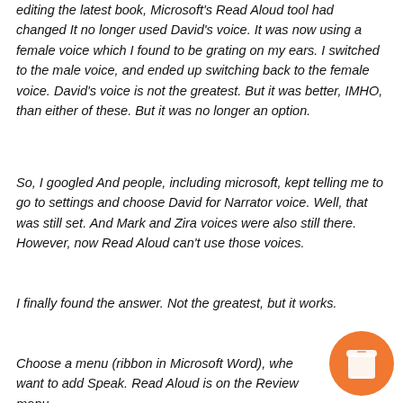editing the latest book, Microsoft's Read Aloud tool had changed It no longer used David's voice. It was now using a female voice which I found to be grating on my ears. I switched to the male voice, and ended up switching back to the female voice. David's voice is not the greatest. But it was better, IMHO, than either of these. But it was no longer an option.
So, I googled And people, including microsoft, kept telling me to go to settings and choose David for Narrator voice. Well, that was still set. And Mark and Zira voices were also still there. However, now Read Aloud can't use those voices.
I finally found the answer. Not the greatest, but it works.
Choose a menu (ribbon in Microsoft Word), whe want to add Speak. Read Aloud is on the Review menu
[Figure (illustration): Orange circular button with a coffee cup icon (take-away cup with lid)]